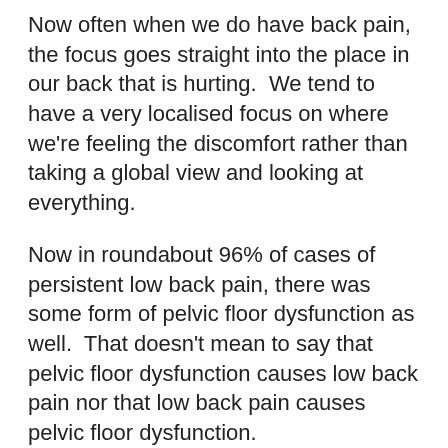Now often when we do have back pain, the focus goes straight into the place in our back that is hurting.  We tend to have a very localised focus on where we're feeling the discomfort rather than taking a global view and looking at everything.
Now in roundabout 96% of cases of persistent low back pain, there was some form of pelvic floor dysfunction as well.  That doesn't mean to say that pelvic floor dysfunction causes low back pain nor that low back pain causes pelvic floor dysfunction.
But there was a correlation so the two tend to happen together.   So when we are dealing with persistent low back pain or back pain, that has happened over a long period of time, I think it's really important to do some deep screening – asking some deep questions about